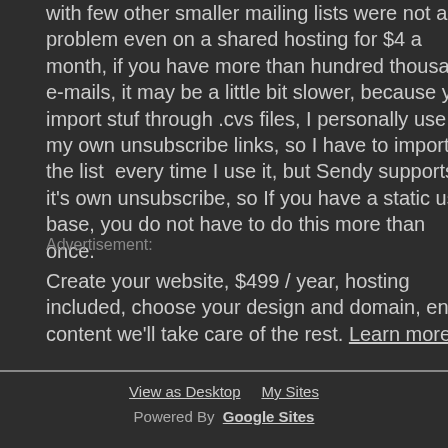with few other smaller mailing lists were not a problem even on a shared hosting for $4 a month, if you have more than hundred thousand e-mails, it may be a little bit slower, because you import stuf through .cvs files, I personally use my own unsubscribe links, so I have to import the list every time I use it, but Sendy supports it's own unsubscribe, so If you have a static user base, you do not have to do this more than once.
Advertisement:
Create your website, $499 / year, hosting included, choose your design and domain, enter content we'll take care of the rest. Learn more >
View as Desktop   My Sites
Powered By  Google Sites